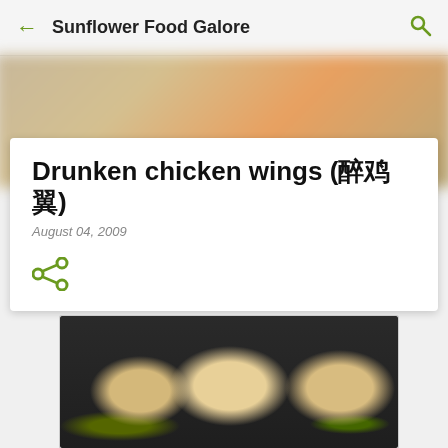← Sunflower Food Galore 🔍
[Figure (photo): Blurred background photo with warm tones]
Drunken chicken wings (醉鸡翅)
August 04, 2009
[Figure (illustration): Share icon in olive/green color]
[Figure (photo): Photo of drunken chicken wings on a dark plate, garnished with shredded ginger and a red chili pepper slice]